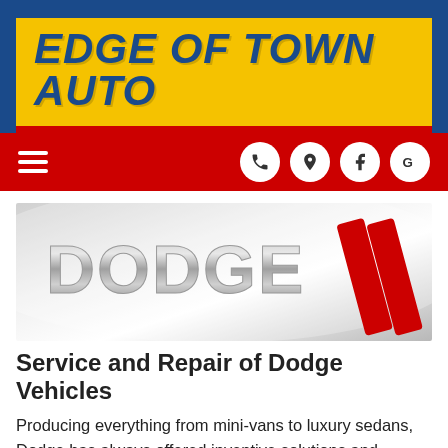EDGE OF TOWN AUTO
[Figure (logo): Dodge brand logo on silver/grey gradient background with red double-slash mark]
Service and Repair of Dodge Vehicles
Producing everything from mini-vans to luxury sedans, Dodge has always offered inventive solutions and unique automobiles to its customers. As one of the most trusted and well-recognized automobile